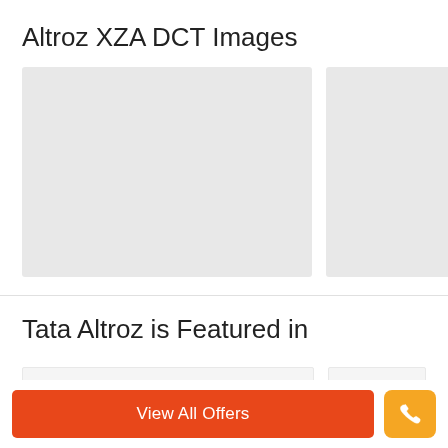Altroz XZA DCT Images
[Figure (photo): Two image placeholder boxes for Altroz XZA DCT car images. Left placeholder is larger (approx 290x210px), right placeholder is partially visible (approx 136x210px). Both are light gray rectangles.]
Tata Altroz is Featured in
[Figure (other): Partial view of featured items row - two gray placeholder boxes partially visible at bottom of featured section]
View All Offers
[Figure (other): Phone/call icon button in orange square]